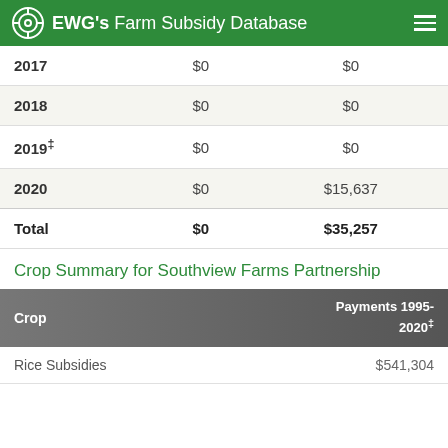EWG's Farm Subsidy Database
| Year | Col2 | Col3 |
| --- | --- | --- |
| 2017 | $0 | $0 |
| 2018 | $0 | $0 |
| 2019‡ | $0 | $0 |
| 2020 | $0 | $15,637 |
| Total | $0 | $35,257 |
Crop Summary for Southview Farms Partnership
| Crop | Payments 1995-2020‡ |
| --- | --- |
| Rice Subsidies | $541,304 |